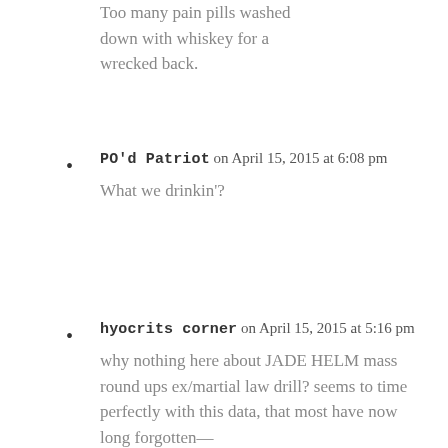Too many pain pills washed down with whiskey for a wrecked back.
PO'd Patriot on April 15, 2015 at 6:08 pm

What we drinkin'?
hyocrits corner on April 15, 2015 at 5:16 pm

why nothing here about JADE HELM mass round ups ex/martial law drill? seems to time perfectly with this data, that most have now long forgotten—
assassins in the sky?